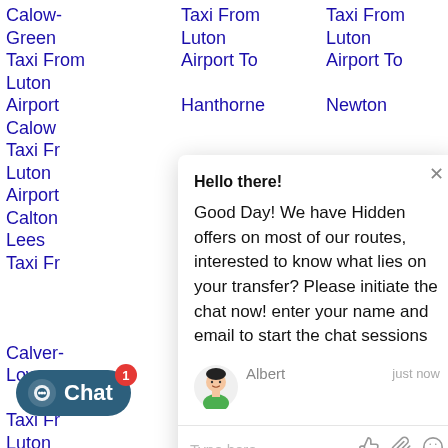Calow-Green Taxi From Luton Airport | Calow Taxi From Luton Airport | Calton Lees Taxi From Luton Airport | Calver-Low Taxi From Luton Airport | Sough
Taxi From Luton Airport To Hanthorne... | Bank | Airport To High-Lee Taxi From Luton
Taxi From Luton Airport To Newton... | Luton | Taxi From Luton Airport To Normanton
Ticknall Taxi From Luton Airport To... | Luton | Taxi From Luton Airport To Toadhole-
[Figure (screenshot): Live chat popup overlay with greeting message from agent 'Albert'. Message reads: 'Hello there! Good Day! We have Hidden offers on most of our routes, interested to know what lies on your transfer? Please initiate the chat now! enter your name and email to start the chat sessions'. Input field at bottom with icons for thumbs up, attachment, and emoji.]
[Figure (screenshot): Chat button in dark teal color with speech bubble icon, text 'Chat', and a red notification badge showing '1'.]